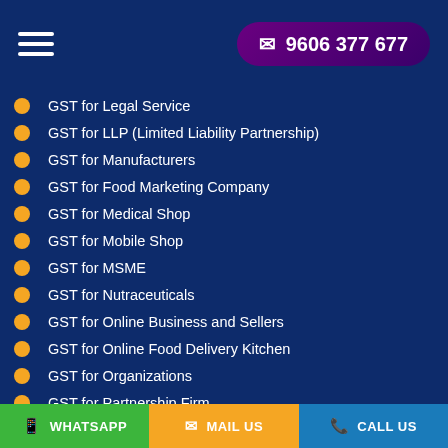☰  9606 377 677
GST for Legal Service
GST for LLP (Limited Liability Partnership)
GST for Manufacturers
GST for Food Marketing Company
GST for Medical Shop
GST for Mobile Shop
GST for MSME
GST for Nutraceuticals
GST for Online Business and Sellers
GST for Online Food Delivery Kitchen
GST for Organizations
GST for Partnership Firm
GST for Pest Control Company
GST for Pet Products
GST for Pharmaceutical Company
GST for Press Media Company
GST for Printing Shop
GST for Private Limited Company
GST for Realestate Business
WHATSAPP  MAIL US  CALL US